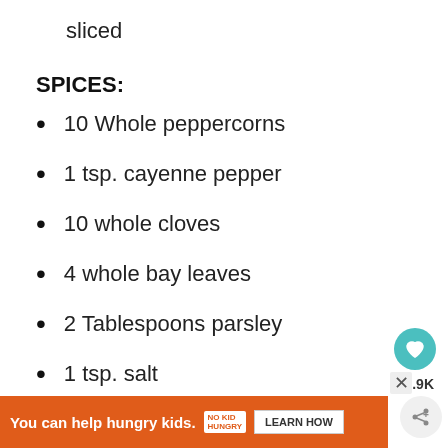sliced
SPICES:
10 Whole peppercorns
1 tsp. cayenne pepper
10 whole cloves
4 whole bay leaves
2 Tablespoons parsley
1 tsp. salt
1 tsp. pepper